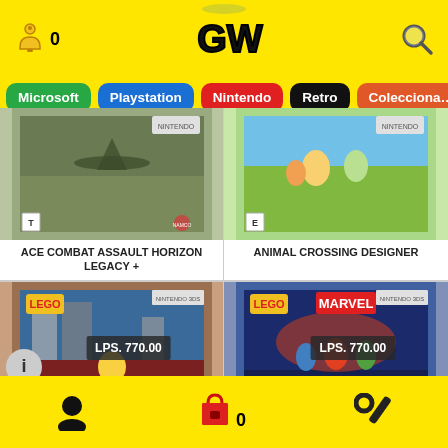GW game store header with bell icon (0), GW logo, and search icon
Microsoft
Playstation
Nintendo
Retro
Coleccionable
[Figure (photo): ACE COMBAT ASSAULT HORIZON LEGACY+ Nintendo 3DS game box art]
ACE COMBAT ASSAULT HORIZON LEGACY +
[Figure (photo): ANIMAL CROSSING DESIGNER Nintendo 3DS game box art]
ANIMAL CROSSING DESIGNER
[Figure (photo): LEGO CITY UNDERCOVER THE CHASE BEGINS Nintendo 3DS game box art, price tag: LPS. 770.00]
LEGO CITY UNDERCOVER THE CHASE BEGINS
[Figure (photo): LEGO MARVEL SUPER HEROES UNIVERSE IN Nintendo 3DS game box art, price tag: LPS. 770.00]
LEGO MARVEL SUPER HEROES UNIVERSE IN
Bottom navigation: profile icon, cart icon (0), settings/wrench icon